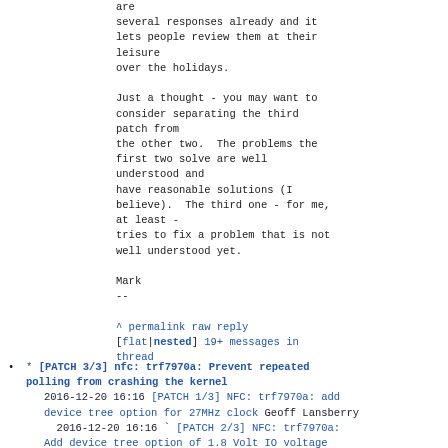are
several responses already and it lets people review them at their leisure
over the holidays.

Just a thought - you may want to consider separating the third patch from
the other two.  The problems the first two solve are well understood and
have reasonable solutions (I believe).  The third one - for me, at least -
tries to fix a problem that is not well understood yet.

Mark
--

^ permalink raw reply [flat|nested] 19+ messages in thread
* [PATCH 3/3] nfc: trf7970a: Prevent repeated polling from crashing the kernel
2016-12-20 16:16 [PATCH 1/3] NFC: trf7970a: add device tree option for 27MHz clock Geoff Lansberry
2016-12-20 16:16 ` [PATCH 2/3] NFC: trf7970a: Add device tree option of 1.8 Volt IO voltage